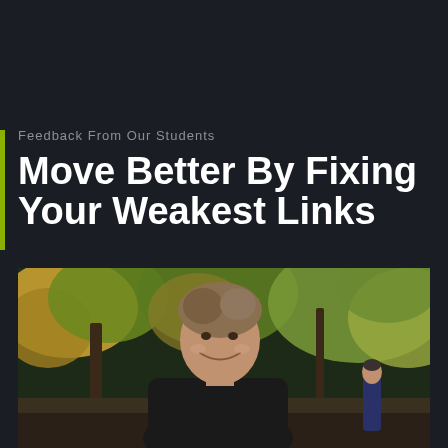Feedback From Our Students
Move Better By Fixing Your Weakest Links
[Figure (photo): Smiling athletic man with short hair wearing a black t-shirt, photographed outdoors in a park with autumn-colored trees and foliage in the background. Another person visible in the far right background.]